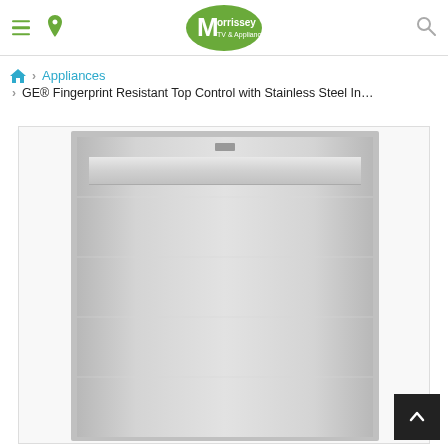Morrissey TV & Appliances - Navigation header with logo
Appliances > GE® Fingerprint Resistant Top Control with Stainless Steel In...
[Figure (photo): GE dishwasher with stainless steel interior and top control panel, front view showing the door handle and smooth stainless steel door finish]